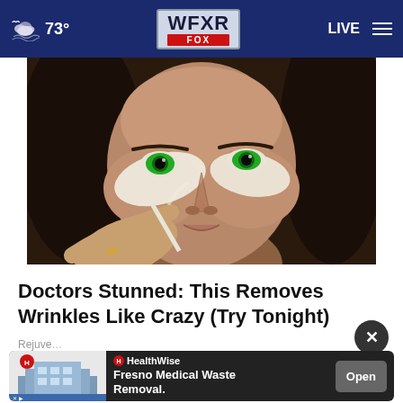73° WFXR FOX LIVE
[Figure (photo): Woman with green eyes applying white cream/concealer under her eyes using a brush or applicator, dark hair, close-up face shot]
Doctors Stunned: This Removes Wrinkles Like Crazy (Try Tonight)
Rejuve...
[Figure (screenshot): Ad banner for HealthWise Fresno Medical Waste Removal with Open button. Features HealthWise logo, building photo, and Open call-to-action button.]